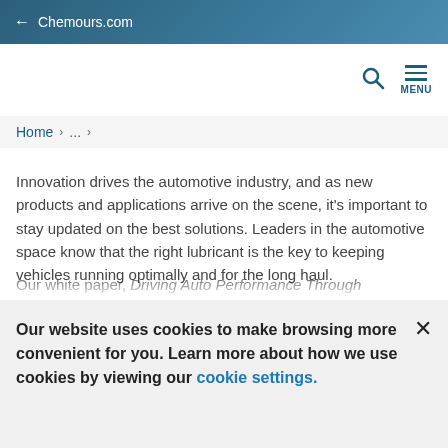← Chemours.com
Home > ... >
Innovation drives the automotive industry, and as new products and applications arrive on the scene, it's important to stay updated on the best solutions. Leaders in the automotive space know that the right lubricant is the key to keeping vehicles running optimally and for the long haul.
Our white paper, Driving Auto Performance Through
Our website uses cookies to make browsing more convenient for you. Learn more about how we use cookies by viewing our cookie settings.